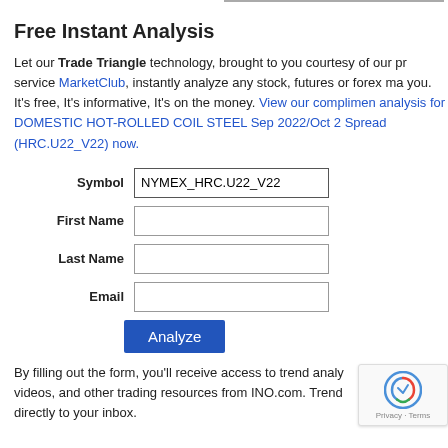Free Instant Analysis
Let our Trade Triangle technology, brought to you courtesy of our premium service MarketClub, instantly analyze any stock, futures or forex market for you. It's free, It's informative, It's on the money. View our complimentary analysis for DOMESTIC HOT-ROLLED COIL STEEL Sep 2022/Oct 2022 Spread (HRC.U22_V22) now.
Symbol: NYMEX_HRC.U22_V22, First Name: [input], Last Name: [input], Email: [input], Analyze button
By filling out the form, you'll receive access to trend analysis videos, and other trading resources from INO.com. Trend analysis sent directly to your inbox.